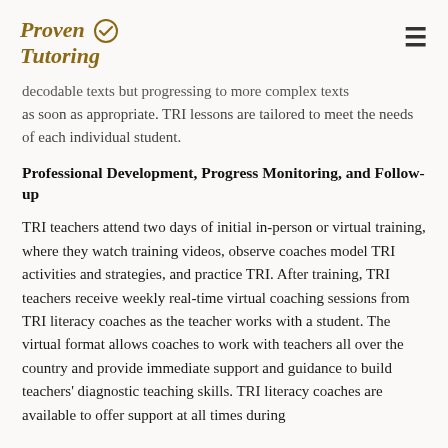Proven Tutoring
decodable texts but progressing to more complex texts as soon as appropriate. TRI lessons are tailored to meet the needs of each individual student.
Professional Development, Progress Monitoring, and Follow-up
TRI teachers attend two days of initial in-person or virtual training, where they watch training videos, observe coaches model TRI activities and strategies, and practice TRI. After training, TRI teachers receive weekly real-time virtual coaching sessions from TRI literacy coaches as the teacher works with a student. The virtual format allows coaches to work with teachers all over the country and provide immediate support and guidance to build teachers' diagnostic teaching skills. TRI literacy coaches are available to offer support at all times during